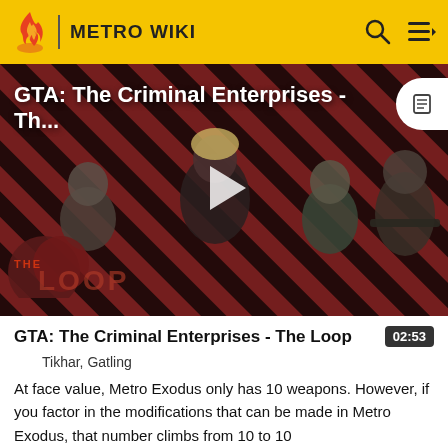METRO WIKI
[Figure (screenshot): Video thumbnail for 'GTA: The Criminal Enterprises - Th...' showing game characters on a red diagonal striped background with 'THE LOOP' logo overlay and a play button in the center.]
GTA: The Criminal Enterprises - The Loop
02:53
Tikhar, Gatling
At face value, Metro Exodus only has 10 weapons. However, if you factor in the modifications that can be made in Metro Exodus, that number climbs from 10 to 10